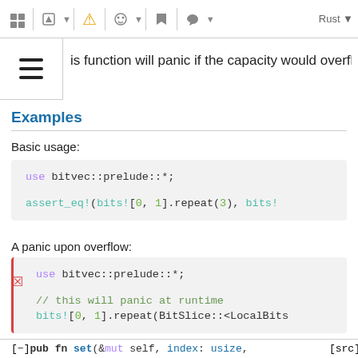toolbar with icons and Rust language selector
is function will panic if the capacity would overflow.
Examples
Basic usage:
use bitvec::prelude::*;

assert_eq!(bits![0, 1].repeat(3), bits!
A panic upon overflow:
use bitvec::prelude::*;

// this will panic at runtime
bits![0, 1].repeat(BitSlice::<LocalBits
[−]pub fn set(&mut self, index: usize, [src]